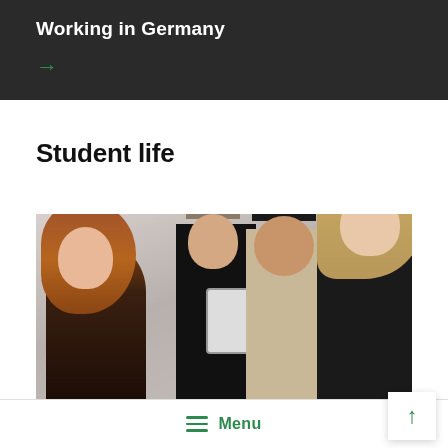Working in Germany
Student life
[Figure (photo): Group of students talking and interacting indoors; a red-haired woman on the left, a man with glasses holding a tablet in the background, an Asian man smiling in the center, and a blonde woman on the right.]